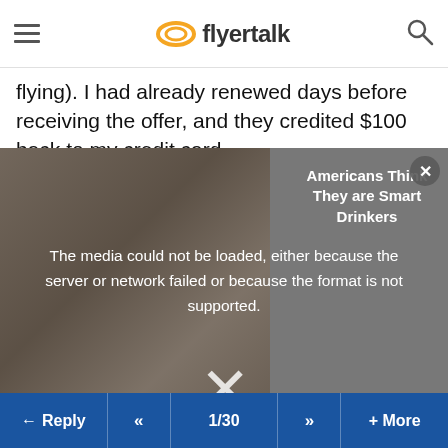flyertalk
flying). I had already renewed days before receiving the offer, and they credited $100 back to my credit card.
[Figure (screenshot): Media player overlay with error message: 'The media could not be loaded, either because the server or network failed or because the format is not supported.' Overlaid on a blurred image with ad text 'Americans Think They are Smart Drinkers' visible. A large X dismiss button and a close button are shown.]
^^^ to AA on this one. What a nice gesture.
Reply  <<  1/30  >>  + More